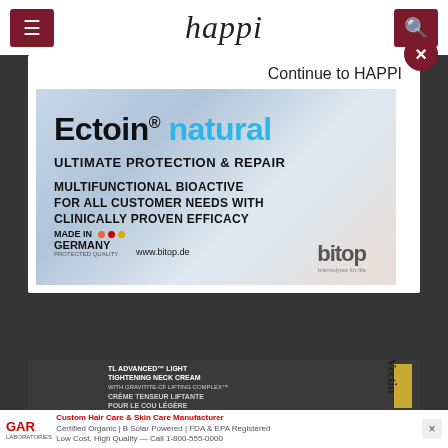happi
[Figure (illustration): Advertisement for Ectoin natural by bitop. Shows product branding with text: Ectoin natural, ULTIMATE PROTECTION & REPAIR, MULTIFUNCTIONAL BIOACTIVE FOR ALL CUSTOMER NEEDS WITH CLINICALLY PROVEN EFFICACY, MADE IN GERMANY PROTECTED QUALITY, www.bitop.de, bitop]
Continue to HAPPI
[Figure (screenshot): Background dimmed webpage showing happi magazine content with a partially visible article and product advertisement for Vectin TL Advanced Light Tightening Neck Cream]
TL ADVANCED™ LIGHT TIGHTENING NECK CREAM WITH GRAVITITE-CF LIFTING COMPLEX™ CRÈME TENSEUR LIFTANTE POUR LE COU LÉGÈRE
Custom Hair Care & Skin Care Manufacturer — Certified Organic | B Solar Powered | FDA & EPA Registered | Low Cost, High Quality for 1-800-555-5555